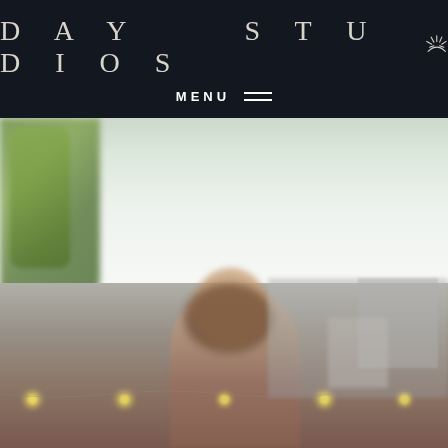DAY STUDIOS  MENU
[Figure (photo): Outdoor photograph showing a person in the foreground with blurred green trees on the left, a bright overcast sky, string lights, and urban buildings in the background. The image is partially cropped and appears to be a wedding or lifestyle photography studio website screenshot.]